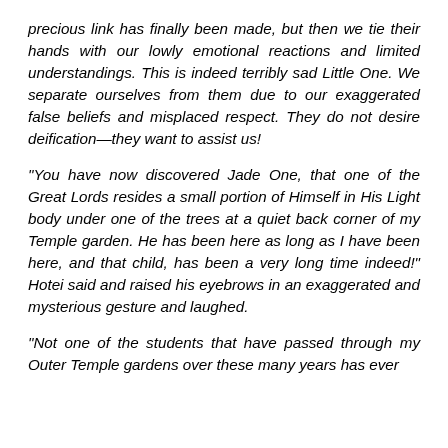precious link has finally been made, but then we tie their hands with our lowly emotional reactions and limited understandings. This is indeed terribly sad Little One. We separate ourselves from them due to our exaggerated false beliefs and misplaced respect. They do not desire deification—they want to assist us!
“You have now discovered Jade One, that one of the Great Lords resides a small portion of Himself in His Light body under one of the trees at a quiet back corner of my Temple garden. He has been here as long as I have been here, and that child, has been a very long time indeed!” Hotei said and raised his eyebrows in an exaggerated and mysterious gesture and laughed.
“Not one of the students that have passed through my Outer Temple gardens over these many years has ever